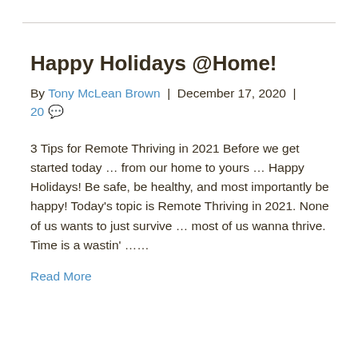Happy Holidays @Home!
By Tony McLean Brown | December 17, 2020 | 20 💬
3 Tips for Remote Thriving in 2021 Before we get started today … from our home to yours … Happy Holidays! Be safe, be healthy, and most importantly be happy! Today's topic is Remote Thriving in 2021. None of us wants to just survive … most of us wanna thrive. Time is a wastin' ……
Read More